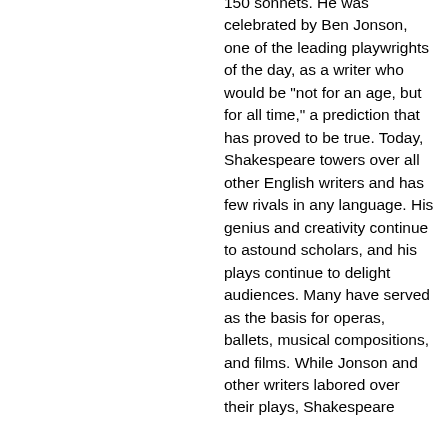150 sonnets. He was celebrated by Ben Jonson, one of the leading playwrights of the day, as a writer who would be "not for an age, but for all time," a prediction that has proved to be true. Today, Shakespeare towers over all other English writers and has few rivals in any language. His genius and creativity continue to astound scholars, and his plays continue to delight audiences. Many have served as the basis for operas, ballets, musical compositions, and films. While Jonson and other writers labored over their plays, Shakespeare